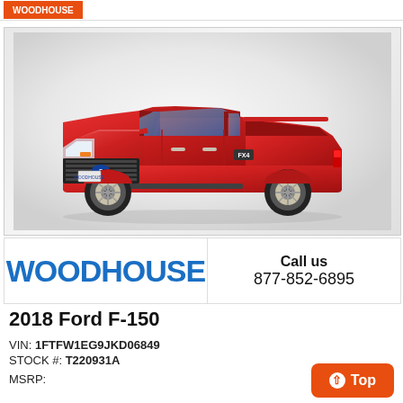WOODHOUSE
[Figure (photo): Red 2018 Ford F-150 pickup truck photographed from a 3/4 front angle on a grey gradient background]
WOODHOUSE   Call us 877-852-6895
2018 Ford F-150
VIN: 1FTFW1EG9JKD06849
STOCK #: T220931A
MSRP: